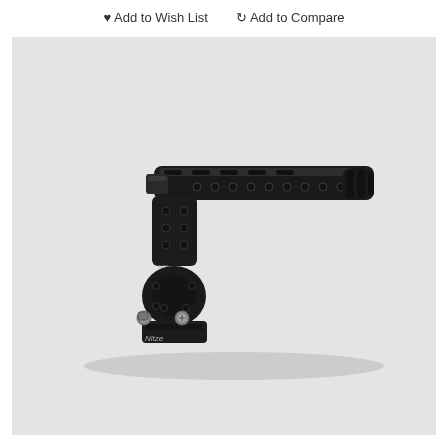Add to Wish List   Add to Compare
[Figure (photo): Nitze brand camera top handle / NATO handle with articulating arm and mounting bracket. Black anodized aluminum construction with multiple 1/4-20 and 3/8-16 threaded holes on top rail. Features ergonomic finger grooves and a ball-joint / rosette mount at the bottom with silver thumb screws. Nitze branding visible on the arm component.]